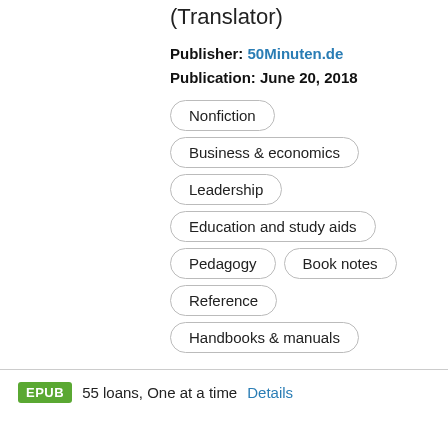(Translator)
Publisher: 50Minuten.de
Publication: June 20, 2018
Nonfiction
Business & economics
Leadership
Education and study aids
Pedagogy
Book notes
Reference
Handbooks & manuals
EPUB  55 loans, One at a time  Details